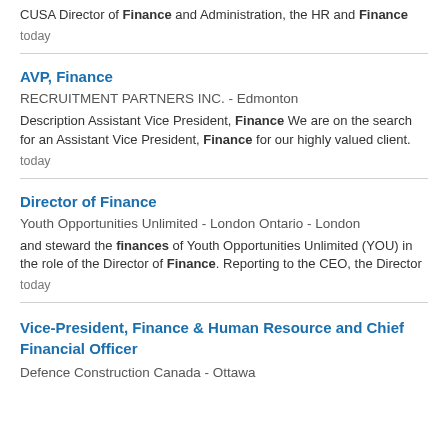CUSA Director of Finance and Administration, the HR and Finance today
AVP, Finance
RECRUITMENT PARTNERS INC.  -  Edmonton
Description Assistant Vice President, Finance We are on the search for an Assistant Vice President, Finance for our highly valued client.
today
Director of Finance
Youth Opportunities Unlimited - London Ontario  -  London
and steward the finances of Youth Opportunities Unlimited (YOU) in the role of the Director of Finance. Reporting to the CEO, the Director
today
Vice-President, Finance & Human Resource and Chief Financial Officer
Defence Construction Canada  -  Ottawa